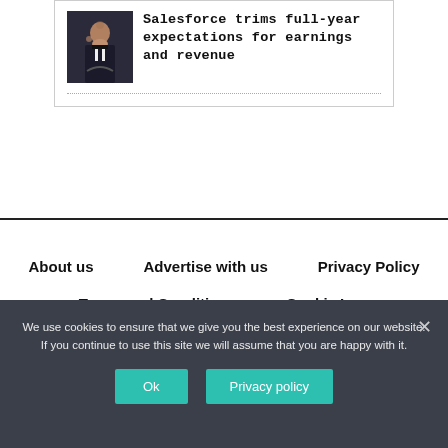[Figure (photo): Photo of a man in a tuxedo on a dark background, associated with Salesforce article]
Salesforce trims full-year expectations for earnings and revenue
About us
Advertise with us
Privacy Policy
Terms and Conditions
Cookie Law
Contact us
We use cookies to ensure that we give you the best experience on our website. If you continue to use this site we will assume that you are happy with it.